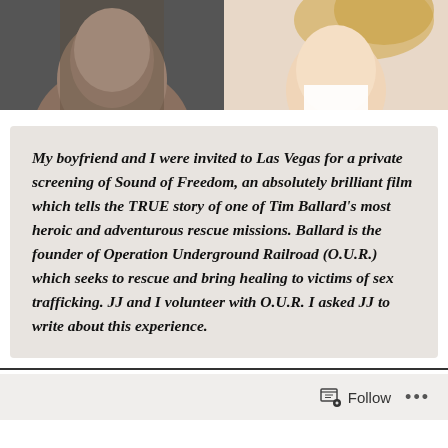[Figure (photo): Two cropped photos side by side: left shows a man's face (partial, dark jacket), right shows a woman's face (partial, blonde hair, white top)]
My boyfriend and I were invited to Las Vegas for a private screening of Sound of Freedom, an absolutely brilliant film which tells the TRUE story of one of Tim Ballard's most heroic and adventurous rescue missions. Ballard is the founder of Operation Underground Railroad (O.U.R.) which seeks to rescue and bring healing to victims of sex trafficking. JJ and I volunteer with O.U.R. I asked JJ to write about this experience.
[Figure (screenshot): Follow button and ellipsis menu at the bottom of the page]